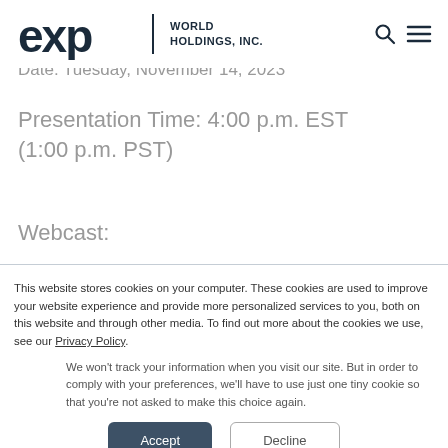[Figure (logo): eXp World Holdings, Inc. logo with stylized 'exp' text and company name]
Date: Tuesday, November 14, 2023
Presentation Time: 4:00 p.m. EST (1:00 p.m. PST)
Webcast:
This website stores cookies on your computer. These cookies are used to improve your website experience and provide more personalized services to you, both on this website and through other media. To find out more about the cookies we use, see our Privacy Policy.
We won't track your information when you visit our site. But in order to comply with your preferences, we'll have to use just one tiny cookie so that you're not asked to make this choice again.